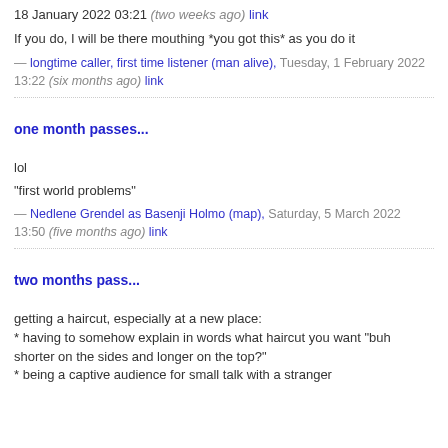18 January 2022 03:21 (two weeks ago) link
If you do, I will be there mouthing *you got this* as you do it
— longtime caller, first time listener (man alive), Tuesday, 1 February 2022 13:22 (six months ago) link
one month passes...
lol
"first world problems"
— Nedlene Grendel as Basenji Holmo (map), Saturday, 5 March 2022 13:50 (five months ago) link
two months pass...
getting a haircut, especially at a new place:
* having to somehow explain in words what haircut you want "buh shorter on the sides and longer on the top?"
* being a captive audience for small talk with a stranger